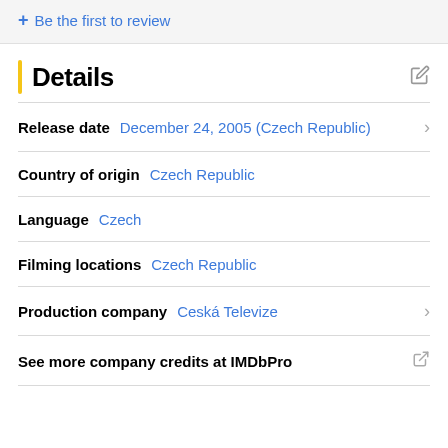+ Be the first to review
Details
Release date   December 24, 2005 (Czech Republic)
Country of origin   Czech Republic
Language   Czech
Filming locations   Czech Republic
Production company   Ceská Televize
See more company credits at IMDbPro